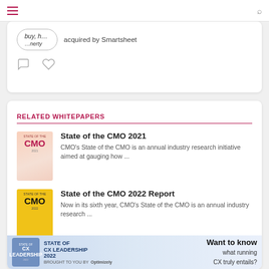Navigation bar with hamburger menu and search icon
[Figure (screenshot): Partial card showing news item: '...buy, h... ...nerty' and 'acquired by Smartsheet' with comment and like icons below]
RELATED WHITEPAPERS
[Figure (illustration): State of the CMO 2021 whitepaper thumbnail cover]
State of the CMO 2021
CMO's State of the CMO is an annual industry research initiative aimed at gauging how ...
[Figure (illustration): State of the CMO 2022 Report whitepaper thumbnail cover (yellow background)]
State of the CMO 2022 Report
Now in its sixth year, CMO's State of the CMO is an annual industry research ...
[Figure (illustration): State of CX Leadership 2022 partial thumbnail and advertisement banner: Want to know what running CX truly entails?]